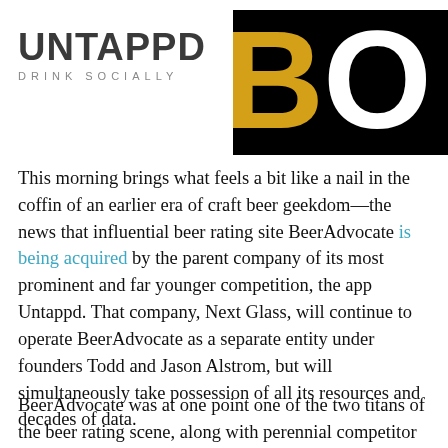[Figure (logo): Untappd logo with text 'UNTAPPD' in bold dark letters and tagline 'DRINK SOCIALLY' below, alongside a partially visible BeerAdvocate logo on black background with gold/yellow letter B]
This morning brings what feels a bit like a nail in the coffin of an earlier era of craft beer geekdom—the news that influential beer rating site BeerAdvocate is being acquired by the parent company of its most prominent and far younger competition, the app Untappd. That company, Next Glass, will continue to operate BeerAdvocate as a separate entity under founders Todd and Jason Alstrom, but will simultaneously take possession of all its resources and decades of data.
BeerAdvocate was at one point one of the two titans of the beer rating scene, along with perennial competitor RateBeer.